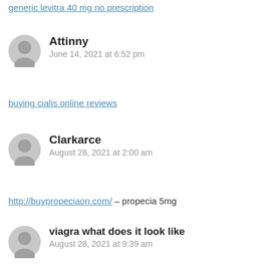generic levitra 40 mg no prescription
Attinny
June 14, 2021 at 6:52 pm
buying cialis online reviews
Clarkarce
August 28, 2021 at 2:00 am
http://buypropeciaon.com/ – propecia 5mg
viagra what does it look like
August 28, 2021 at 9:39 am